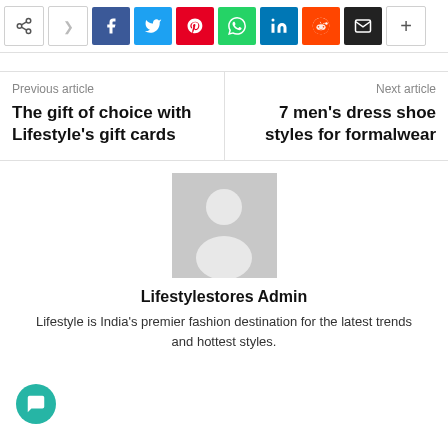[Figure (screenshot): Social media share bar with icons: share, back arrow, Facebook (blue), Twitter (cyan), Pinterest (red), WhatsApp (green), LinkedIn (blue), Reddit (orange), Email (black), plus button]
Previous article
The gift of choice with Lifestyle's gift cards
Next article
7 men's dress shoe styles for formalwear
[Figure (illustration): Default user avatar placeholder - grey square with white person silhouette icon]
Lifestylestores Admin
Lifestyle is India's premier fashion destination for the latest trends and hottest styles.